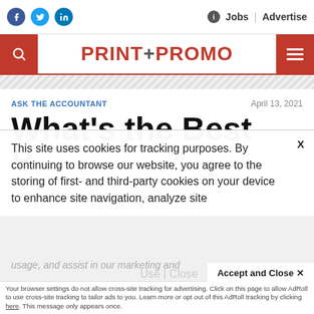Social icons (Facebook, Twitter, LinkedIn) | Jobs | Advertise
[Figure (logo): Print+Promo magazine logo with search icon and hamburger menu]
ASK THE ACCOUNTANT
April 13, 2021
What's the Best
This site uses cookies for tracking purposes. By continuing to browse our website, you agree to the storing of first- and third-party cookies on your device to enhance site navigation, analyze site usage, and assist in our marketing and
Accept and Close ✕
Your browser settings do not allow cross-site tracking for advertising. Click on this page to allow AdRoll to use cross-site tracking to tailor ads to you. Learn more or opt out of this AdRoll tracking by clicking here. This message only appears once.